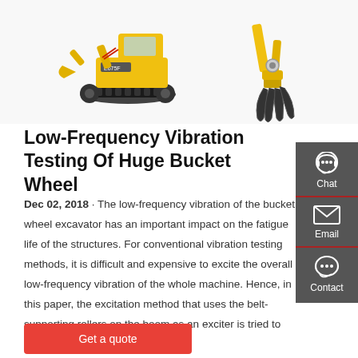[Figure (photo): Two yellow construction machines on white background: a mini excavator (model E675F) on the left and an excavator attachment with claw/grapple on the right.]
Low-Frequency Vibration Testing Of Huge Bucket Wheel
Dec 02, 2018 · The low-frequency vibration of the bucket wheel excavator has an important impact on the fatigue life of the structures. For conventional vibration testing methods, it is difficult and expensive to excite the overall low-frequency vibration of the whole machine. Hence, in this paper, the excitation method that uses the belt-supporting rollers on the boom as an exciter is tried to excite the
Get a quote